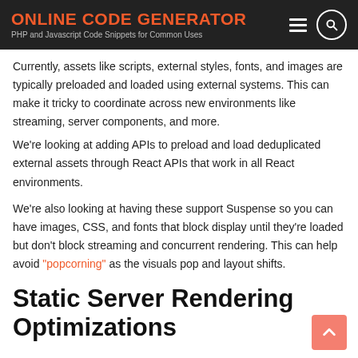ONLINE CODE GENERATOR
PHP and Javascript Code Snippets for Common Uses
Currently, assets like scripts, external styles, fonts, and images are typically preloaded and loaded using external systems. This can make it tricky to coordinate across new environments like streaming, server components, and more.
We're looking at adding APIs to preload and load deduplicated external assets through React APIs that work in all React environments.
We're also looking at having these support Suspense so you can have images, CSS, and fonts that block display until they're loaded but don't block streaming and concurrent rendering. This can help avoid "popcorning" as the visuals pop and layout shifts.
Static Server Rendering Optimizations